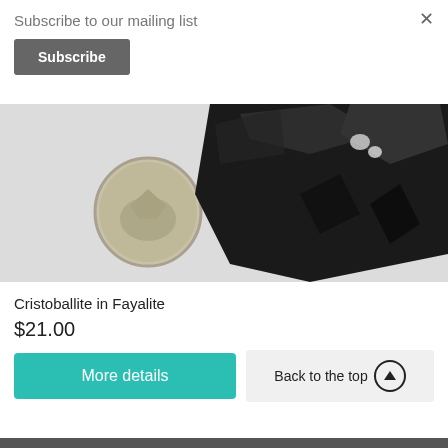Subscribe to our mailing list
×
Subscribe
[Figure (photo): Photo of a black glossy mineral specimen (Cristobalite in Fayalite) next to a US quarter coin for scale, on a white background.]
Cristoballite in Fayalite
$21.00
More details
Back to the top